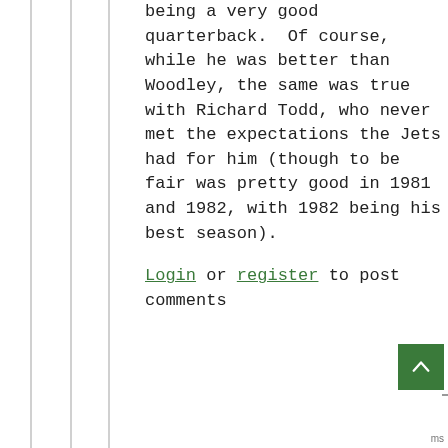being a very good quarterback.  Of course, while he was better than Woodley, the same was true with Richard Todd, who never met the expectations the Jets had for him (though to be fair was pretty good in 1981 and 1982, with 1982 being his best season).
Login or register to post comments